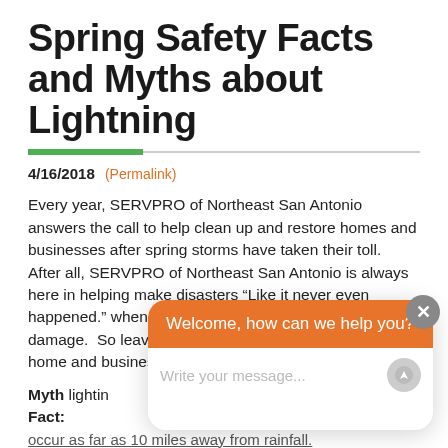Spring Safety Facts and Myths about Lightning
4/16/2018 (Permalink)
Every year, SERVPRO of Northeast San Antonio answers the call to help clean up and restore homes and businesses after spring storms have taken their toll.  After all, SERVPRO of Northeast San Antonio is always here in helping make disasters “Like it never even happened.” when your property suffers from storm damage.  So leave the restoration remediation of your home and business to our team. Cons... storm...
Myth... lightin...
Fact:
occur as far as 10 miles away from rainfall.
[Figure (screenshot): Chat widget overlay showing orange header 'Welcome, how can we help you?' with a text input placeholder 'Write your message...' and a circular send button, plus a close X button in the upper right.]